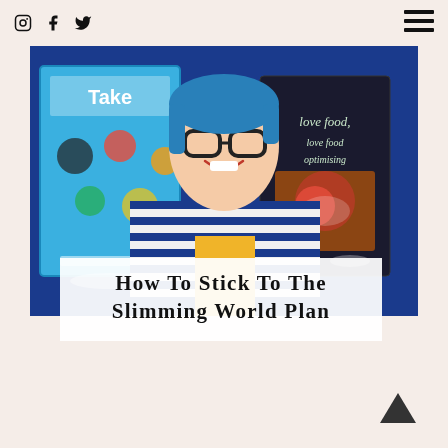Instagram, Facebook, Twitter social icons and hamburger menu
[Figure (photo): A smiling young woman with glasses and blue hair, wearing a blue and white striped shirt with a yellow panel, holding two Slimming World books up — one colorful children/food book on the left and 'love food, love food optimising' cookbook on the right. Background is bright blue.]
How To Stick To The Slimming World Plan